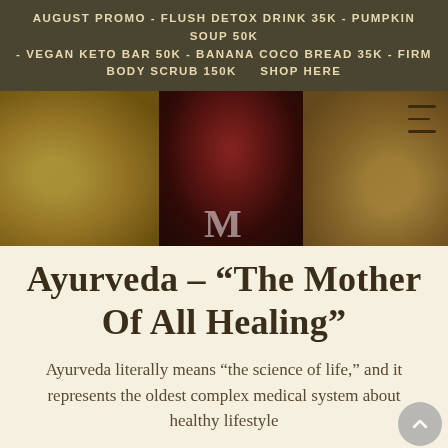AUGUST PROMO - FLUSH DETOX DRINK 35K - PUMPKIN SOUP 50K - VEGAN KETO BAR 50K - BANANA COCO BREAD 35K - FIRM BODY SCRUB 150K    SHOP HERE
[Figure (photo): Overhead view of natural food ingredients: popcorn or grain cluster on the left, dried flowers/berries in a dark bowl in the center, and ginger root on the right, on a dark brown background. A hamburger menu icon appears in the top right, and a large white letter M logo watermark appears at the bottom center.]
Ayurveda – “The Mother Of All Healing”
Ayurveda literally means “the science of life,” and it represents the oldest complex medical system about healthy lifestyle